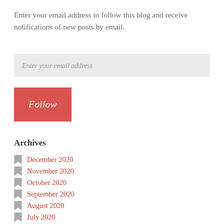Enter your email address to follow this blog and receive notifications of new posts by email.
Enter your email address
Follow
Archives
December 2020
November 2020
October 2020
September 2020
August 2020
July 2020